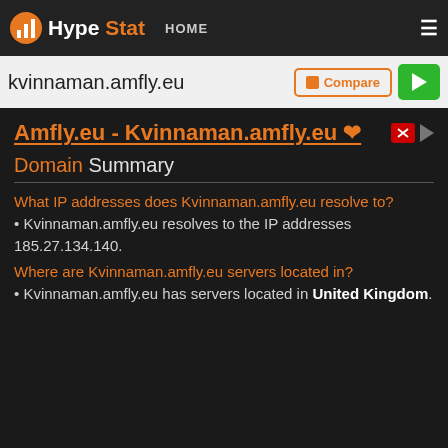HypeStat HOME ≡
kvinnaman.amfly.eu  Compare ▶
Amfly.eu - Kvinnaman.amfly.eu 🤍
Domain Summary
What IP addresses does Kvinnaman.amfly.eu resolve to?
• Kvinnaman.amfly.eu resolves to the IP addresses 185.27.134.140.
Where are Kvinnaman.amfly.eu servers located in?
• Kvinnaman.amfly.eu has servers located in United Kingdom.